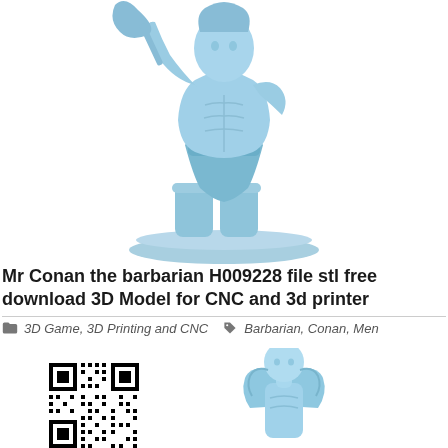[Figure (illustration): 3D render of Conan the barbarian figurine in blue/light blue color, showing a muscular warrior holding an axe, wearing a loincloth and fur boots, standing on a rocky base]
Mr Conan the barbarian H009228 file stl free download 3D Model for CNC and 3d printer
3D Game, 3D Printing and CNC   Barbarian, Conan, Men
[Figure (other): QR code (black and white square barcode)]
[Figure (illustration): Second 3D render figurine in blue color, showing a muscular male figure from the upper body, partially visible at bottom right]